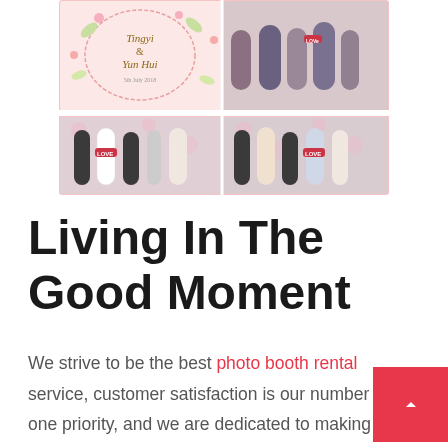[Figure (photo): Wedding photo booth collage with floral border. Shows a decorative label 'Tingyi & Yun Hui' and multiple group photos of guests holding LOVE props against a pink floral backdrop.]
Living In The Good Moment
We strive to be the best photo booth rental service, customer satisfaction is our number one priority, and we are dedicated to making sure that your guests have a pleasant and fun photo booth experience. In order to do